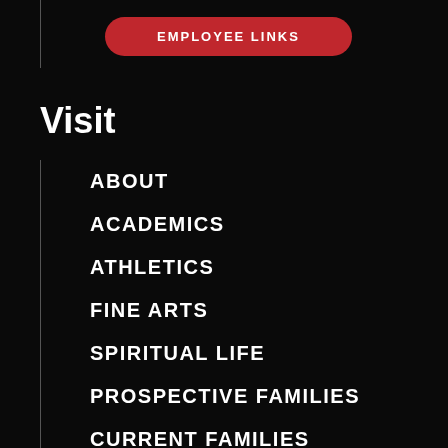EMPLOYEE LINKS
Visit
ABOUT
ACADEMICS
ATHLETICS
FINE ARTS
SPIRITUAL LIFE
PROSPECTIVE FAMILIES
CURRENT FAMILIES
ALUMNI